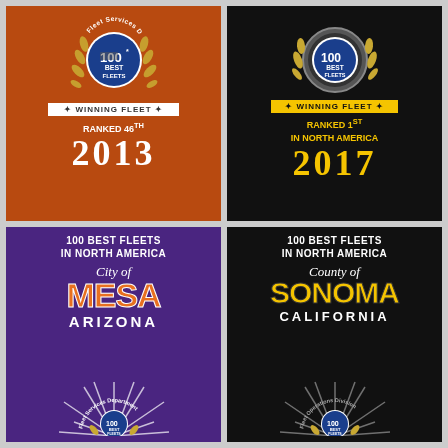[Figure (logo): 100 Best Fleets Fleet Services Department badge — orange background, Winning Fleet ribbon, Ranked 46th, 2013]
[Figure (logo): 100 Best Fleets badge — black background, Winning Fleet yellow ribbon, Ranked 1st In North America, 2017]
[Figure (logo): 100 Best Fleets In North America — purple background, City of Mesa Arizona, Fleet Services Department badge]
[Figure (logo): 100 Best Fleets In North America — black background, County of Sonoma California, Fleet Operations Division badge]